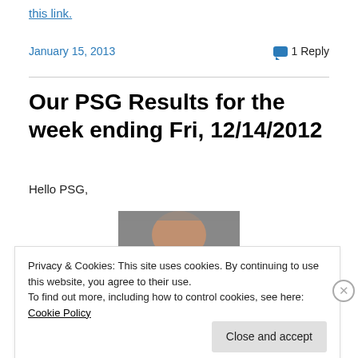this link.
January 15, 2013    1 Reply
Our PSG Results for the week ending Fri, 12/14/2012
Hello PSG,
[Figure (photo): Partial photo of a person's head/forehead, cropped, appearing behind a cookie consent banner]
Privacy & Cookies: This site uses cookies. By continuing to use this website, you agree to their use.
To find out more, including how to control cookies, see here: Cookie Policy
Close and accept